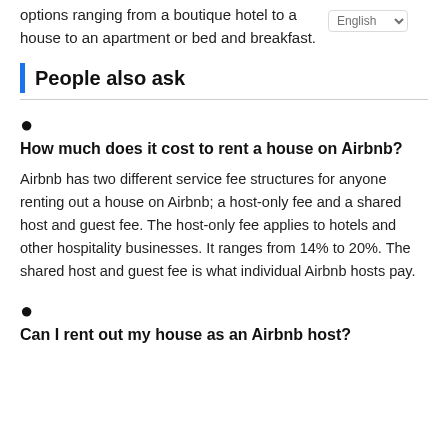options ranging from a boutique hotel to a house to an apartment or bed and breakfast.
People also ask
How much does it cost to rent a house on Airbnb?

Airbnb has two different service fee structures for anyone renting out a house on Airbnb; a host-only fee and a shared host and guest fee. The host-only fee applies to hotels and other hospitality businesses. It ranges from 14% to 20%. The shared host and guest fee is what individual Airbnb hosts pay.
Can I rent out my house as an Airbnb host?